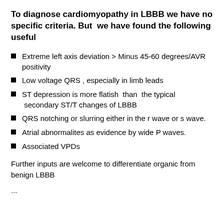To diagnose cardiomyopathy in LBBB we have no specific criteria. But  we have found the following useful
Extreme left axis deviation > Minus 45-60 degrees/AVR positivity
Low voltage QRS , especially in limb leads
ST depression is more flatish  than  the typical  secondary ST/T changes of LBBB
QRS notching or slurring either in the r wave or s wave.
Atrial abnormalites as evidence by wide P waves.
Associated VPDs
Further inputs are welcome to differentiate organic from benign LBBB
...